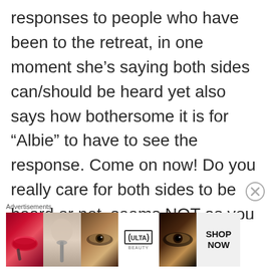responses to people who have been to the retreat, in one moment she's saying both sides can/should be heard yet also says how bothersome it is for “Albie” to have to see the response. Come on now! Do you really care for both sides to be heard or not, seems NOT as you have to fire back each time someone shares who has been & just pushing for
[Figure (other): Close button (X in circle) overlay on the right side near the advertisement area]
Advertisements
[Figure (photo): ULTA Beauty advertisement banner showing makeup images: lips with lipstick, makeup brush, eye with eyeshadow, ULTA logo, smoky eye makeup, with SHOP NOW call to action]